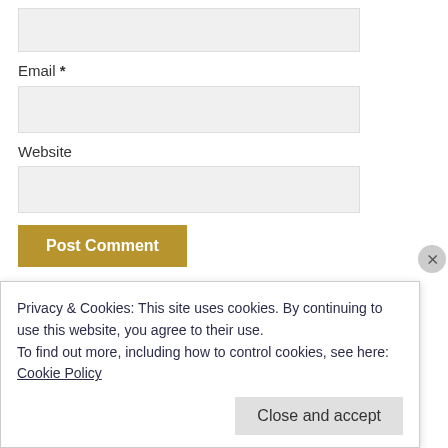Email *
Website
Post Comment
Notify me of new comments via email.
Privacy & Cookies: This site uses cookies. By continuing to use this website, you agree to their use.
To find out more, including how to control cookies, see here:
Cookie Policy
Close and accept